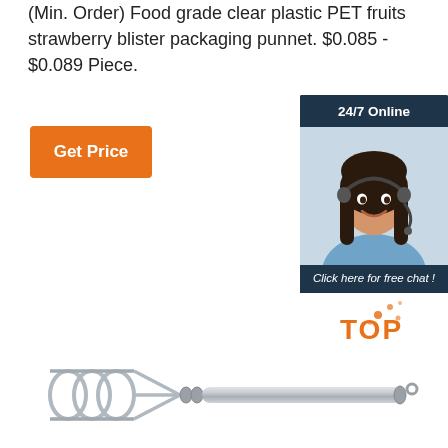(Min. Order) Food grade clear plastic PET fruits strawberry blister packaging punnet. $0.085 - $0.089 Piece.
[Figure (other): Orange 'Get Price' button]
[Figure (other): 24/7 Online chat widget with photo of woman wearing headset, 'Click here for free chat!' text, and orange QUOTATION button]
[Figure (photo): Stainless steel kitchen tool (egg beater / whisk) with coiled wire end and cylindrical handle, shown at bottom of page. 'TOP' badge with orange dots in upper right area of image.]